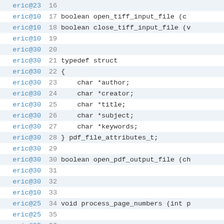Code listing with annotations (lines 16-40): source code diff/blame view showing authors eric@23, eric@10, eric@25, eric@30 alongside line numbers and C code including typedef struct for pdf_file_attributes_t and function declarations.